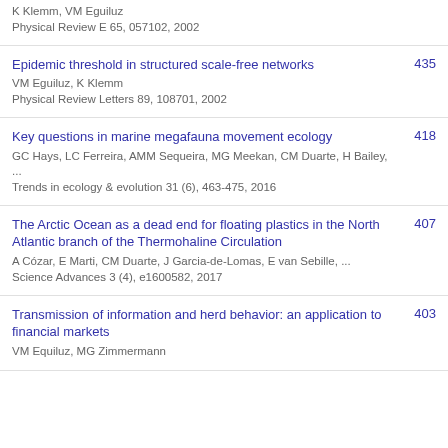K Klemm, VM Eguiluz
Physical Review E 65, 057102, 2002
Epidemic threshold in structured scale-free networks
VM Eguiluz, K Klemm
Physical Review Letters 89, 108701, 2002
435
Key questions in marine megafauna movement ecology
GC Hays, LC Ferreira, AMM Sequeira, MG Meekan, CM Duarte, H Bailey, ...
Trends in ecology & evolution 31 (6), 463-475, 2016
418
The Arctic Ocean as a dead end for floating plastics in the North Atlantic branch of the Thermohaline Circulation
A Cózar, E Marti, CM Duarte, J Garcia-de-Lomas, E van Sebille, ...
Science Advances 3 (4), e1600582, 2017
407
Transmission of information and herd behavior: an application to financial markets
VM Equiluz, MG Zimmermann
403